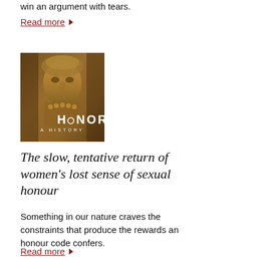win an argument with tears.
Read more ▶
[Figure (photo): Book cover of 'Honor: A History' showing an ancient carved stone figure, with the title text overlaid in white]
The slow, tentative return of women's lost sense of sexual honour
Something in our nature craves the constraints that produce the rewards an honour code confers.
Read more ▶